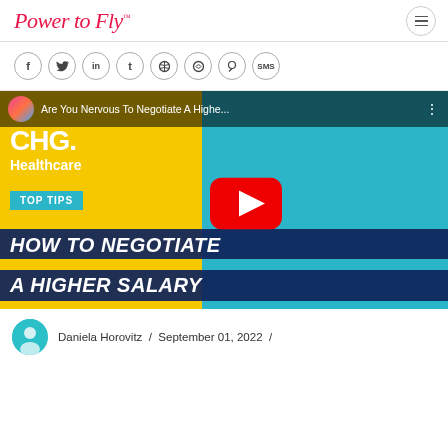PowerFly™
[Figure (screenshot): Social media sharing icons row: Facebook (f), Twitter, LinkedIn (in), Tumblr (t), Pinterest, WhatsApp, Reddit, SMS]
[Figure (screenshot): YouTube video thumbnail: 'Are You Nervous To Negotiate A Highe...' — CHG Healthcare. TOP TIPS: HOW TO NEGOTIATE A HIGHER SALARY. Features a woman with dark hair, yellow and blue background, large red YouTube play button.]
Daniela Horovitz / September 01, 2022 /